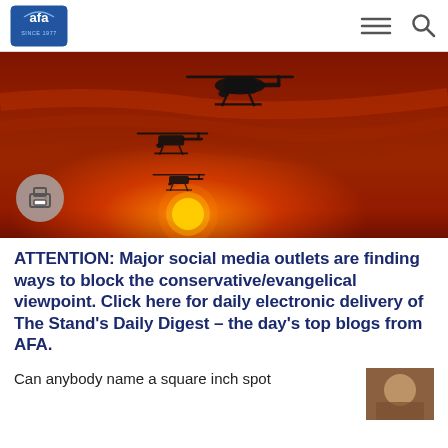afa SINCE 1977
[Figure (photo): Two military helicopters silhouetted against an orange-red sunset sky with a glowing sun disk near the horizon. A circular print button is overlaid in the lower left.]
ATTENTION: Major social media outlets are finding ways to block the conservative/evangelical viewpoint. Click here for daily electronic delivery of The Stand's Daily Digest – the day's top blogs from AFA.
Can anybody name a square inch spot